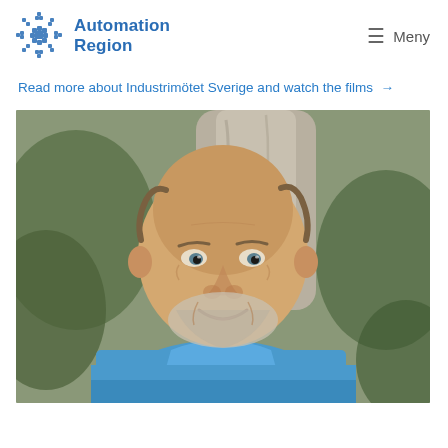Automation Region  Meny
Read more about Industrimötet Sverige and watch the films →
[Figure (photo): Portrait photo of a middle-aged bald man with a short grey beard, smiling, wearing a blue shirt, standing in front of a tree with greenery in the background, in black and white background mixed with color.]